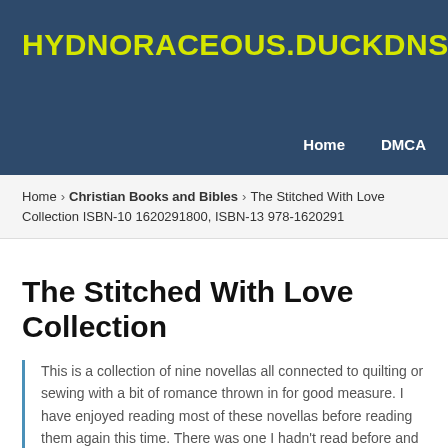HYDNORACEOUS.DUCKDNS.ORG
Home   DMCA
Home › Christian Books and Bibles › The Stitched With Love Collection ISBN-10 1620291800, ISBN-13 978-1620291
The Stitched With Love Collection
This is a collection of nine novellas all connected to quilting or sewing with a bit of romance thrown in for good measure. I have enjoyed reading most of these novellas before reading them again this time. There was one I hadn't read before and it's...